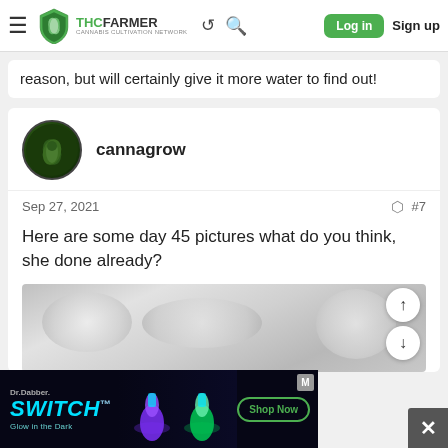THCFarmer - Cannabis Cultivation Network - Log in - Sign up
reason, but will certainly give it more water to find out!
cannagrow
Sep 27, 2021  #7
Here are some day 45 pictures what do you think, she done already?
[Figure (photo): Blurred/partially visible photo of cannabis plant, grey background]
[Figure (photo): Dr.Dabber SWITCH advertisement banner with glowing bong products, dark background, Shop Now button]